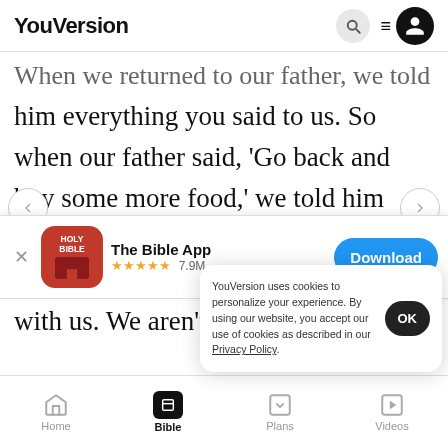YouVersion
When we returned to our father, we told him everything you said to us. So when our father said, 'Go back and buy some more food,' we told him flatly, 'We can't. The only way we can go back is if our youngest brother is with us. We aren't
[Figure (screenshot): App banner for 'The Bible App' with Holy Bible icon, 5 star rating, 7.9M reviews, and Download button]
27-29
very we
YouVersion uses cookies to personalize your experience. By using our website, you accept our use of cookies as described in our Privacy Policy.
Home  Bible  Plans  Videos